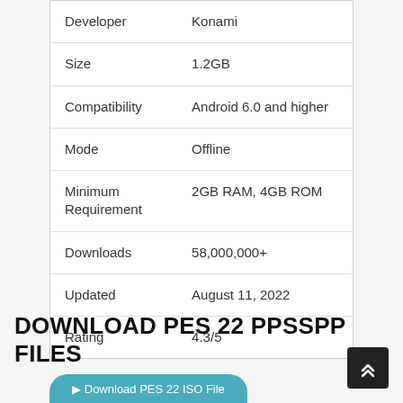|  |  |
| --- | --- |
| Developer | Konami |
| Size | 1.2GB |
| Compatibility | Android 6.0 and higher |
| Mode | Offline |
| Minimum Requirement | 2GB RAM, 4GB ROM |
| Downloads | 58,000,000+ |
| Updated | August 11, 2022 |
| Rating | 4.3/5 |
DOWNLOAD PES 22 PPSSPP FILES